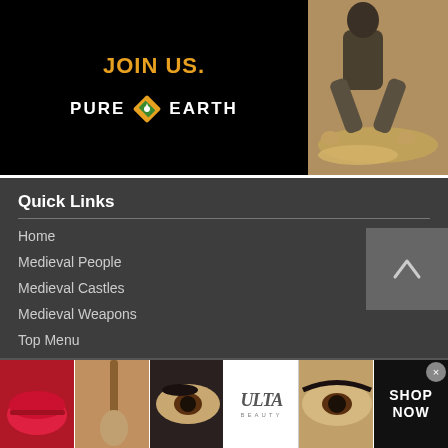[Figure (illustration): Pure Earth 'JOIN US.' advertisement banner with black background, gold text 'JOIN US.' and Pure Earth logo with diamond shape]
[Figure (photo): Photo of person crouching and working with hands in sandy/soil material]
Quick Links
Home
Medieval People
Medieval Castles
Medieval Weapons
Top Menu
Follow Us
[Figure (photo): Beauty advertisement strip showing lips, makeup brush, eye with makeup, Ulta Beauty logo, eye with dramatic makeup, and SHOP NOW button]